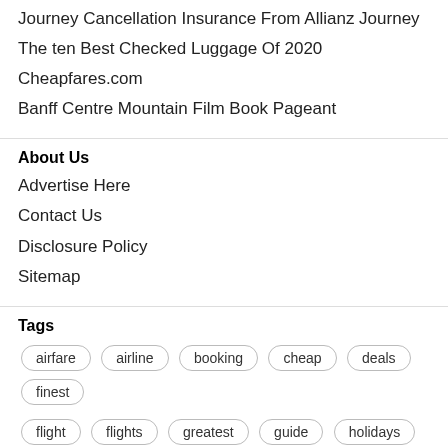Journey Cancellation Insurance From Allianz Journey
The ten Best Checked Luggage Of 2020
Cheapfares.com
Banff Centre Mountain Film Book Pageant
About Us
Advertise Here
Contact Us
Disclosure Policy
Sitemap
Tags
airfare
airline
booking
cheap
deals
finest
flight
flights
greatest
guide
holidays